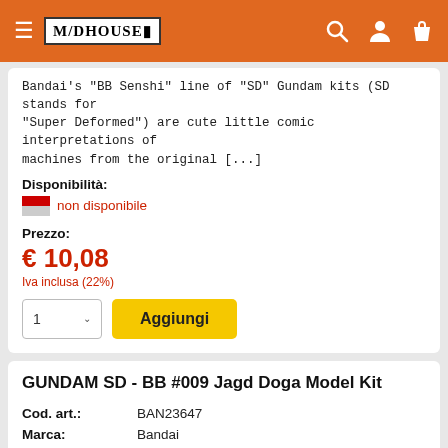Modehouse navigation bar
Bandai's "BB Senshi" line of "SD" Gundam kits (SD stands for "Super Deformed") are cute little comic interpretations of machines from the original [...]
Disponibilità:
non disponibile
Prezzo:
€ 10,08
Iva inclusa (22%)
GUNDAM SD - BB #009 Jagd Doga Model Kit
| Field | Value |
| --- | --- |
| Cod. art.: | BAN23647 |
| Marca: | Bandai |
| Tipologia: | Model Kit - SD Gundam |
Bandai's "BB Senshi" line of "SD" Gundam kits (SD stands for "Super Deformed") are cute little comic interpretations of